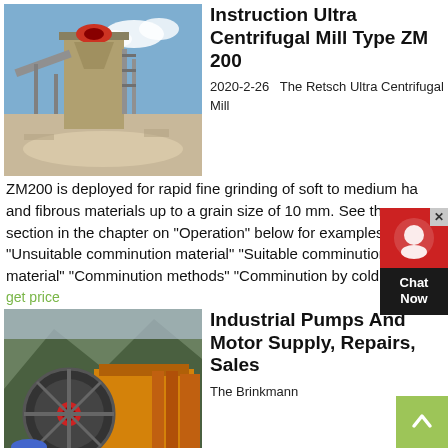[Figure (photo): Industrial mining quarry with large machinery and conveyor structures under blue sky]
Instruction Ultra Centrifugal Mill Type ZM 200
2020-2-26   The Retsch Ultra Centrifugal Mill ZM200 is deployed for rapid fine grinding of soft to medium hard and fibrous materials up to a grain size of 10 mm. See the section in the chapter on "Operation" below for examples: "Unsuitable comminution material" "Suitable comminution material" "Comminution methods" "Comminution by cold grinding"
get price
[Figure (photo): Industrial jaw crusher machine with large flywheel, orange body, set against green mountainside]
Industrial Pumps And Motor Supply, Repairs, Sales
The Brinkmann